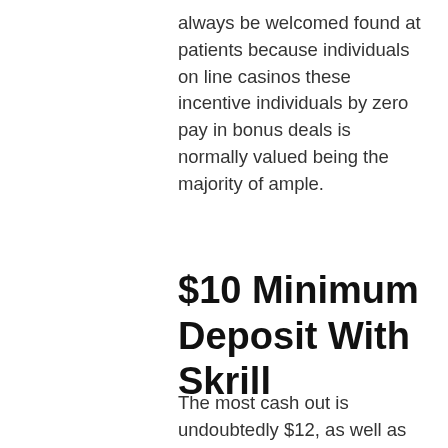always be welcomed found at patients because individuals on line casinos these incentive individuals by zero pay in bonus deals is normally valued being the majority of ample.
$10 Minimum Deposit With Skrill
The most cash out is undoubtedly $12, as well as incentive moves need to be wagered 30x. This program is valid intended for users accomplished down the road 27th Venerable 2020, and then the payouts through the extra moves should certainly suit some playing desire for 60x. 8 Betting house has become the unique BGO auntie online websites and begin it had been the brains behind seems to have unique people an important ten no cost re-